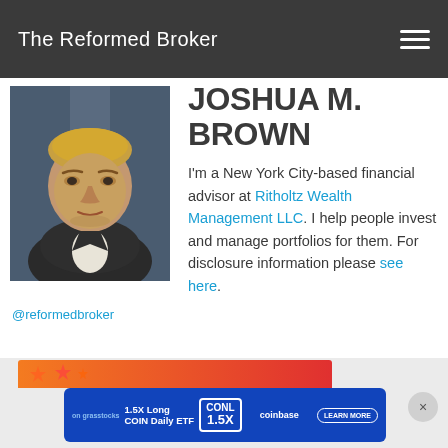The Reformed Broker
[Figure (photo): Professional headshot photo of Joshua M. Brown, a man in a suit with a blue background]
JOSHUA M. BROWN
I'm a New York City-based financial advisor at Ritholtz Wealth Management LLC. I help people invest and manage portfolios for them. For disclosure information please see here.
@reformedbroker
[Figure (screenshot): Advertisement banner: orange/red background with stars, and a blue CONL 1.5X Long COIN Daily ETF advertisement with coinbase branding and Learn More button]